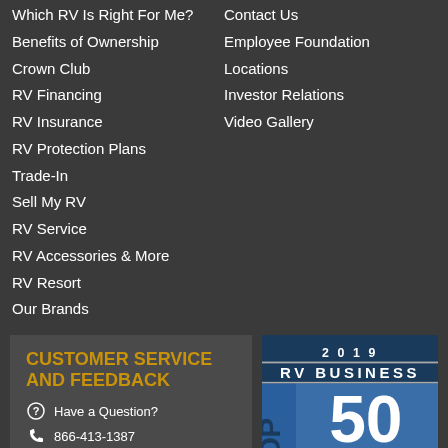Which RV Is Right For Me?
Contact Us
Benefits of Ownership
Employee Foundation
Crown Club
Locations
RV Financing
Investor Relations
RV Insurance
Video Gallery
RV Protection Plans
Trade-In
Sell My RV
RV Service
RV Accessories & More
RV Resort
Our Brands
CUSTOMER SERVICE AND FEEDBACK
Have a Question?
866-413-1387
Message Us
[Figure (logo): 2019 RV Business Top 50 Dealer Awards logo/badge]